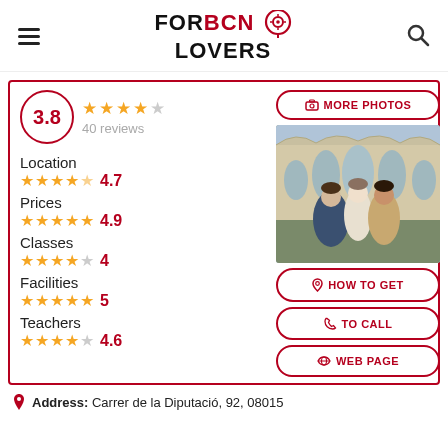FOR BCN LOVERS
3.8 — 40 reviews
MORE PHOTOS
[Figure (photo): Three young people (two women and one man) smiling in front of an ornate building in Barcelona, likely Casa Batlló]
Location 4.7
Prices 4.9
Classes 4
Facilities 5
Teachers 4.6
HOW TO GET
TO CALL
WEB PAGE
Address: Carrer de la Diputació, 92, 08015